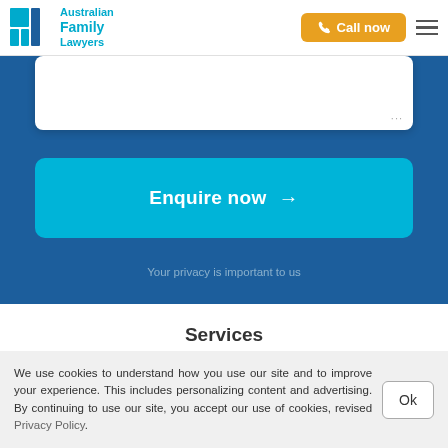Australian Family Lawyers | Call now
[Figure (screenshot): White card input area with dotted border at bottom-right corner]
Enquire now →
Your privacy is important to us
Services
Separation
Divorce
We use cookies to understand how you use our site and to improve your experience. This includes personalizing content and advertising. By continuing to use our site, you accept our use of cookies, revised Privacy Policy.